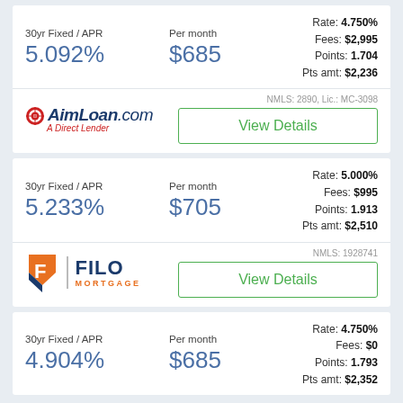30yr Fixed / APR 5.092% | Per month $685 | Rate: 4.750% Fees: $2,995 Points: 1.704 Pts amt: $2,236
[Figure (logo): AimLoan.com A Direct Lender logo with target icon]
NMLS: 2890, Lic.: MC-3098
View Details
30yr Fixed / APR 5.233% | Per month $705 | Rate: 5.000% Fees: $995 Points: 1.913 Pts amt: $2,510
[Figure (logo): FILO MORTGAGE logo with orange F icon]
NMLS: 1928741
View Details
30yr Fixed / APR 4.904% | Per month $685 | Rate: 4.750% Fees: $0 Points: 1.793 Pts amt: $2,352